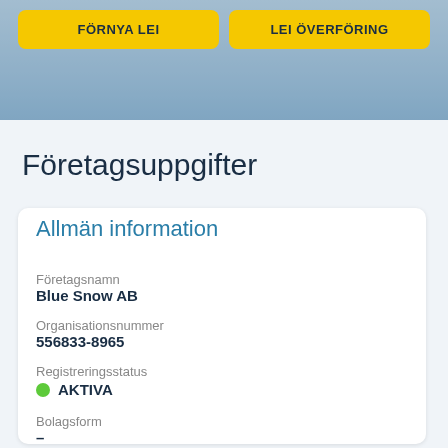[Figure (screenshot): Top banner with blue tinted building background image]
FÖRNYA LEI
LEI ÖVERFÖRING
Företagsuppgifter
Allmän information
Företagsnamn
Blue Snow AB
Organisationsnummer
556833-8965
Registreringsstatus
AKTIVA
Bolagsform
–